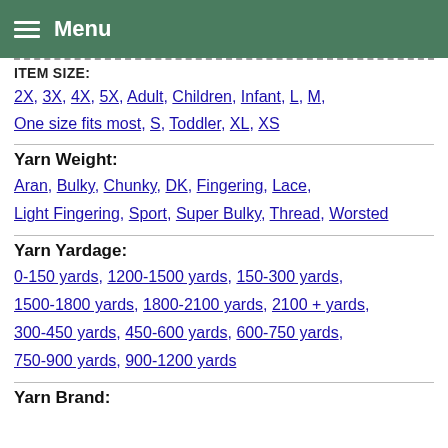Menu
ITEM SIZE:
2X, 3X, 4X, 5X, Adult, Children, Infant, L, M, One size fits most, S, Toddler, XL, XS
Yarn Weight:
Aran, Bulky, Chunky, DK, Fingering, Lace, Light Fingering, Sport, Super Bulky, Thread, Worsted
Yarn Yardage:
0-150 yards, 1200-1500 yards, 150-300 yards, 1500-1800 yards, 1800-2100 yards, 2100 + yards, 300-450 yards, 450-600 yards, 600-750 yards, 750-900 yards, 900-1200 yards
Yarn Brand: